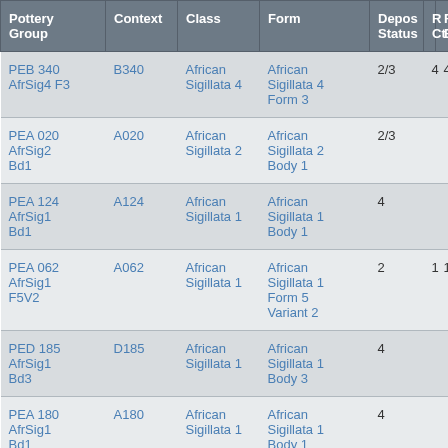| Pottery Group | Context | Class | Form | Depos Status | R Ct | R EVP |
| --- | --- | --- | --- | --- | --- | --- |
| PEB 340 AfrSig4 F3 | B340 | African Sigillata 4 | African Sigillata 4 Form 3 | 2/3 | 4 | 4 |
| PEA 020 AfrSig2 Bd1 | A020 | African Sigillata 2 | African Sigillata 2 Body 1 | 2/3 |  |  |
| PEA 124 AfrSig1 Bd1 | A124 | African Sigillata 1 | African Sigillata 1 Body 1 | 4 |  |  |
| PEA 062 AfrSig1 F5V2 | A062 | African Sigillata 1 | African Sigillata 1 Form 5 Variant 2 | 2 | 1 | 1 |
| PED 185 AfrSig1 Bd3 | D185 | African Sigillata 1 | African Sigillata 1 Body 3 | 4 |  |  |
| PEA 180 AfrSig1 Bd1 | A180 | African Sigillata 1 | African Sigillata 1 Body 1 | 4 |  |  |